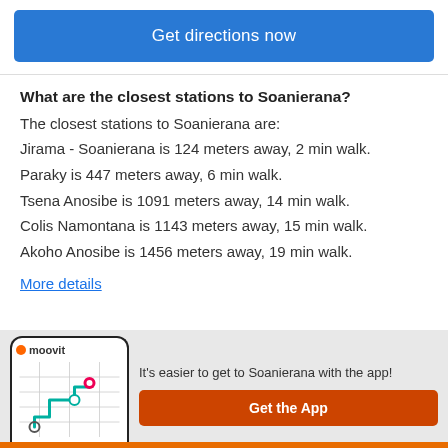Get directions now
What are the closest stations to Soanierana?
The closest stations to Soanierana are:
Jirama - Soanierana is 124 meters away, 2 min walk.
Paraky is 447 meters away, 6 min walk.
Tsena Anosibe is 1091 meters away, 14 min walk.
Colis Namontana is 1143 meters away, 15 min walk.
Akoho Anosibe is 1456 meters away, 19 min walk.
More details
It's easier to get to Soanierana with the app!
Get the App